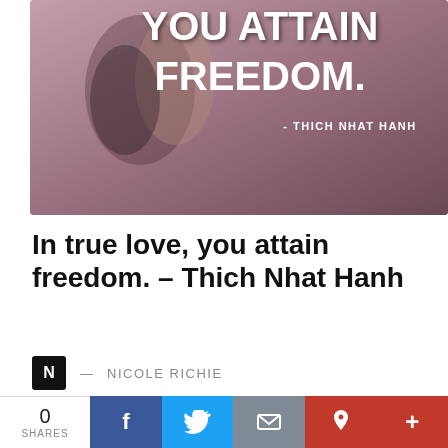[Figure (illustration): Quote graphic with couple embracing. Bold white text reads 'YOU ATTAIN FREEDOM.' with attribution '- THICH NHAT HANH' on a pink/mauve toned background.]
In true love, you attain freedom. – Thich Nhat Hanh
N — NICOLE RICHIE
[Figure (photo): Partial photo visible at bottom of page, cropped.]
0 SHARES  f  Twitter  Email  Pinterest  +